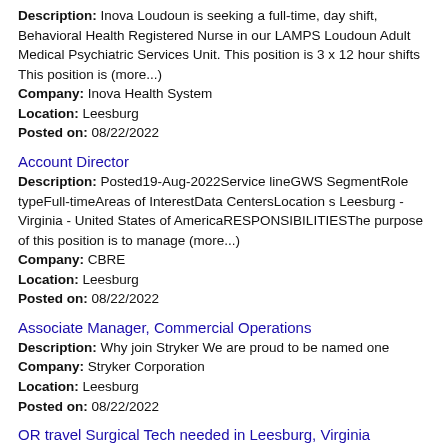Description: Inova Loudoun is seeking a full-time, day shift, Behavioral Health Registered Nurse in our LAMPS Loudoun Adult Medical Psychiatric Services Unit. This position is 3 x 12 hour shifts This position is (more...) Company: Inova Health System Location: Leesburg Posted on: 08/22/2022
Account Director
Description: Posted19-Aug-2022Service lineGWS SegmentRole typeFull-timeAreas of InterestData CentersLocation s Leesburg - Virginia - United States of AmericaRESPONSIBILITIESThe purpose of this position is to manage (more...) Company: CBRE Location: Leesburg Posted on: 08/22/2022
Associate Manager, Commercial Operations
Description: Why join Stryker We are proud to be named one Company: Stryker Corporation Location: Leesburg Posted on: 08/22/2022
OR travel Surgical Tech needed in Leesburg, Virginia